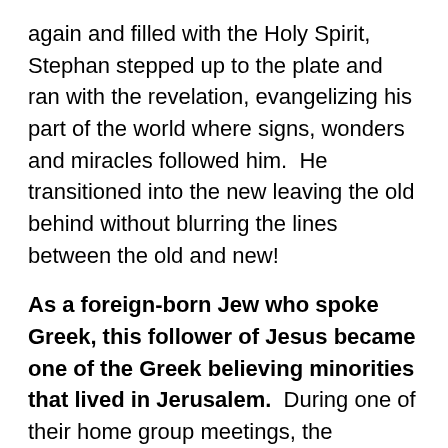again and filled with the Holy Spirit, Stephan stepped up to the plate and ran with the revelation, evangelizing his part of the world where signs, wonders and miracles followed him.  He transitioned into the new leaving the old behind without blurring the lines between the old and new!
As a foreign-born Jew who spoke Greek, this follower of Jesus became one of the Greek believing minorities that lived in Jerusalem.  During one of their home group meetings, the apostles chose seven deacons for service. Stephan, one of the seven, was recognized as one who had special gifts for evangelism.  We read that he was full of grace and power and that the Holy Spirit was